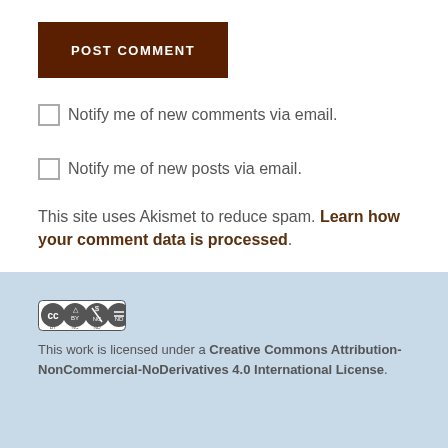POST COMMENT
Notify me of new comments via email.
Notify me of new posts via email.
This site uses Akismet to reduce spam. Learn how your comment data is processed.
[Figure (logo): Creative Commons BY NC ND license badge]
This work is licensed under a Creative Commons Attribution-NonCommercial-NoDerivatives 4.0 International License.